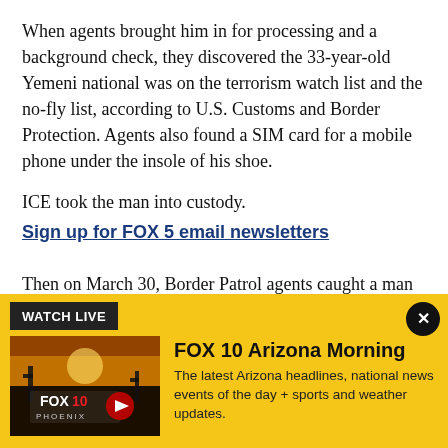When agents brought him in for processing and a background check, they discovered the 33-year-old Yemeni national was on the terrorism watch list and the no-fly list, according to U.S. Customs and Border Protection. Agents also found a SIM card for a mobile phone under the insole of his shoe.
ICE took the man into custody.
Sign up for FOX 5 email newsletters
Then on March 30, Border Patrol agents caught a man
[Figure (screenshot): Yellow WATCH LIVE banner overlay featuring FOX 10 Arizona Morning show. Includes a thumbnail image of FOX 10 Phoenix logo with a play button, the show title 'FOX 10 Arizona Morning', and a description: 'The latest Arizona headlines, national news events of the day + sports and weather updates.' A close (X) button is in the top right corner.]